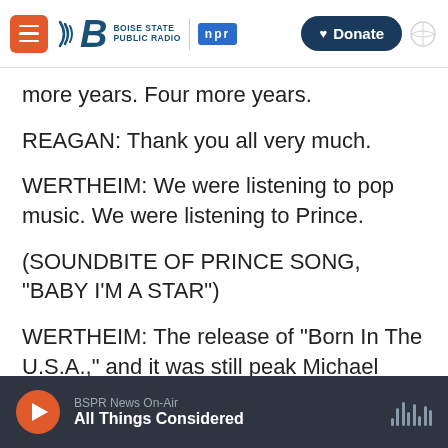Boise State Public Radio | NPR | Donate
more years. Four more years.
REAGAN: Thank you all very much.
WERTHEIM: We were listening to pop music. We were listening to Prince.
(SOUNDBITE OF PRINCE SONG, "BABY I'M A STAR")
WERTHEIM: The release of "Born In The U.S.A.," and it was still peak Michael Jackson. But in addition to listening, we have this visual dimension
BSPR News On-Air
All Things Considered